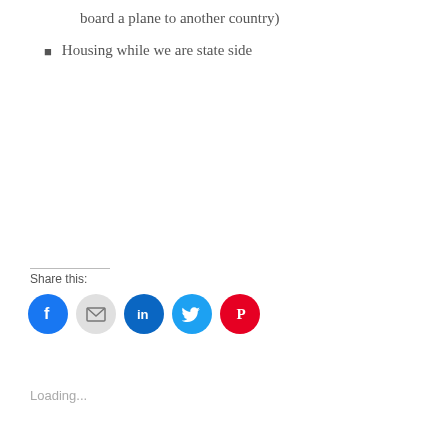board a plane to another country)
Housing while we are state side
Share this:
[Figure (other): Social share icons: Facebook, Email, LinkedIn, Twitter, Pinterest]
Loading...